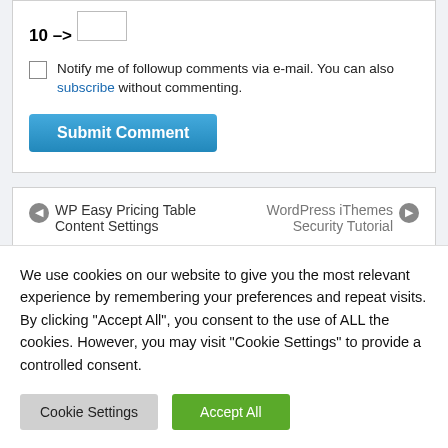10 – one =
Notify me of followup comments via e-mail. You can also subscribe without commenting.
Submit Comment
WP Easy Pricing Table Content Settings
WordPress iThemes Security Tutorial
We use cookies on our website to give you the most relevant experience by remembering your preferences and repeat visits. By clicking "Accept All", you consent to the use of ALL the cookies. However, you may visit "Cookie Settings" to provide a controlled consent.
Cookie Settings
Accept All